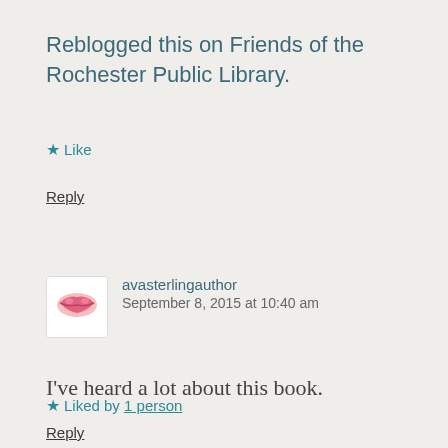Reblogged this on Friends of the Rochester Public Library.
★ Like
Reply
avasterlingauthor
September 8, 2015 at 10:40 am
I've heard a lot about this book.
★ Liked by 1 person
Reply